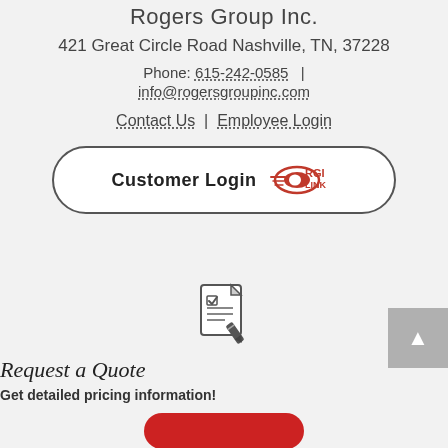Rogers Group Inc.
421 Great Circle Road Nashville, TN, 37228
Phone: 615-242-0585  |  info@rogersgroupinc.com
Contact Us  |  Employee Login
[Figure (other): Customer Login button with RGI Link logo — red stylized RGI text with a link graphic]
[Figure (illustration): Document/clipboard icon with checkmark and pencil, representing a quote request form]
Request a Quote
Get detailed pricing information!
[Figure (other): Red rounded button at bottom, partially visible]